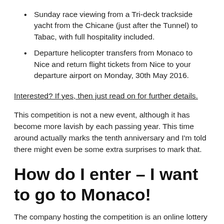Sunday race viewing from a Tri-deck trackside yacht from the Chicane (just after the Tunnel) to Tabac, with full hospitality included.
Departure helicopter transfers from Monaco to Nice and return flight tickets from Nice to your departure airport on Monday, 30th May 2016.
Interested? If yes, then just read on for further details.
This competition is not a new event, although it has become more lavish by each passing year. This time around actually marks the tenth anniversary and I'm told there might even be some extra surprises to mark that.
How do I enter – I want to go to Monaco!
The company hosting the competition is an online lottery ticket provider. They basically act as middle man, say that you want to play in the USA Powerball lottery but live in the UK and don't